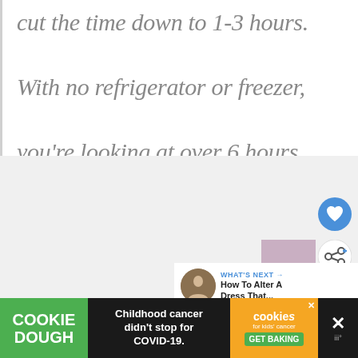cut the time down to 1-3 hours. With no refrigerator or freezer, you're looking at over 6 hours.
[Figure (screenshot): UI overlay with like (heart) button in blue circle and share button in white circle on a light gray background section, plus a 'What's Next' card showing a thumbnail and text 'How To Alter A Dress That...']
[Figure (infographic): Advertisement banner: Cookie Dough brand ad with text 'Childhood cancer didn't stop for COVID-19.' and cookies for kids' cancer GET BAKING call to action]